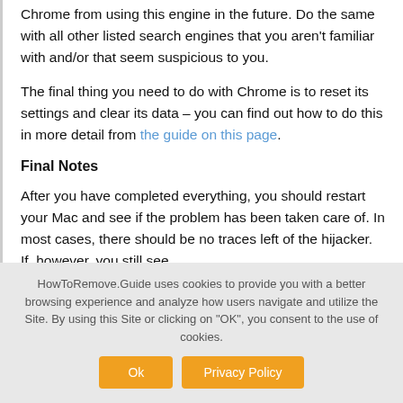Chrome from using this engine in the future. Do the same with all other listed search engines that you aren't familiar with and/or that seem suspicious to you.
The final thing you need to do with Chrome is to reset its settings and clear its data – you can find out how to do this in more detail from the guide on this page.
Final Notes
After you have completed everything, you should restart your Mac and see if the problem has been taken care of. In most cases, there should be no traces left of the hijacker. If, however, you still see signs of "Browser/Position" will be...
HowToRemove.Guide uses cookies to provide you with a better browsing experience and analyze how users navigate and utilize the Site. By using this Site or clicking on "OK", you consent to the use of cookies.